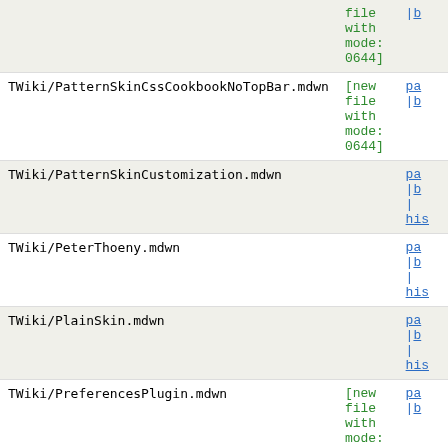| Filename | Status | Links |
| --- | --- | --- |
|  | [new file with mode: 0644] | | b |
| TWiki/PatternSkinCssCookbookNoTopBar.mdwn | [new file with mode: 0644] | pa | b |
| TWiki/PatternSkinCustomization.mdwn |  | pa | b | his |
| TWiki/PeterThoeny.mdwn |  | pa | b | his |
| TWiki/PlainSkin.mdwn |  | pa | b | his |
| TWiki/PreferencesPlugin.mdwn | [new file with mode: 0644] | pa | b |
| TWiki/PreviewBackground.mdwn |  | pa | b | his |
| TWiki/PrintSkin.mdwn |  | pa | b | his |